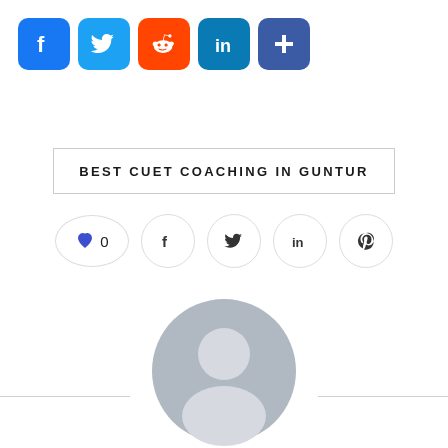[Figure (infographic): Social media share icons row: Facebook (blue), Twitter (light blue), Reddit (orange-red), LinkedIn (teal-blue), More/Plus (dark blue)]
BEST CUET COACHING IN GUNTUR
[Figure (infographic): Social action buttons row: heart/like button showing 0, Facebook share, Twitter share, LinkedIn share, Pinterest share]
[Figure (photo): Generic user avatar/profile silhouette in grey, circular shape with head and shoulders]
Dipanroy